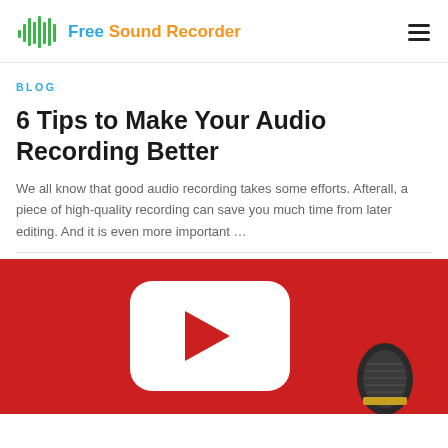Free Sound Recorder
BLOG
6 Tips to Make Your Audio Recording Better
We all know that good audio recording takes some efforts. Afterall, a piece of high-quality recording can save you much time from later editing. And it is even more important …
[Figure (screenshot): Red YouTube-style thumbnail with a white rounded-rectangle play button icon and a dark microphone partially visible at the bottom right]